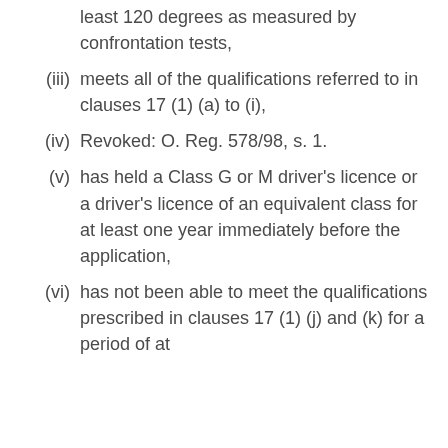least 120 degrees as measured by confrontation tests,
(iii) meets all of the qualifications referred to in clauses 17 (1) (a) to (i),
(iv) Revoked: O. Reg. 578/98, s. 1.
(v) has held a Class G or M driver’s licence or a driver’s licence of an equivalent class for at least one year immediately before the application,
(vi) has not been able to meet the qualifications prescribed in clauses 17 (1) (j) and (k) for a period of at